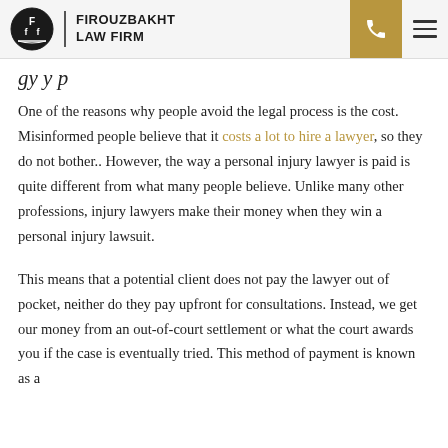FIROUZBAKHT LAW FIRM
One of the reasons why people avoid the legal process is the cost. Misinformed people believe that it costs a lot to hire a lawyer, so they do not bother.. However, the way a personal injury lawyer is paid is quite different from what many people believe. Unlike many other professions, injury lawyers make their money when they win a personal injury lawsuit.
This means that a potential client does not pay the lawyer out of pocket, neither do they pay upfront for consultations. Instead, we get our money from an out-of-court settlement or what the court awards you if the case is eventually tried. This method of payment is known as a